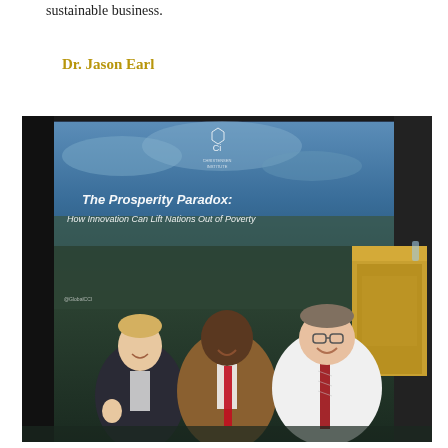sustainable business.
Dr. Jason Earl
[Figure (photo): Three men standing in front of a large projection screen showing 'The Prosperity Paradox: How Innovation Can Lift Nations Out of Poverty' with a Christensen Institute logo. A wooden podium is visible on the right. The three men are smiling; the left man wears a dark suit, the center man wears a brown suit with red tie, and the right man wears a white shirt with red striped tie.]